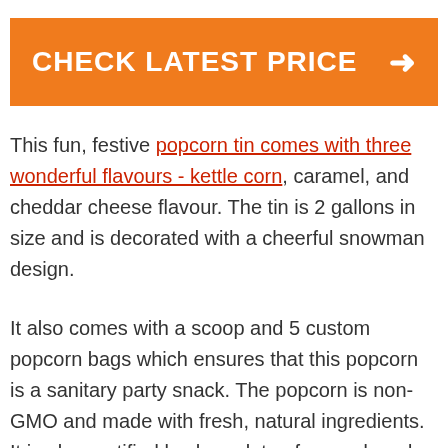CHECK LATEST PRICE →
This fun, festive popcorn tin comes with three wonderful flavours - kettle corn, caramel, and cheddar cheese flavour. The tin is 2 gallons in size and is decorated with a cheerful snowman design.
It also comes with a scoop and 5 custom popcorn bags which ensures that this popcorn is a sanitary party snack. The popcorn is non-GMO and made with fresh, natural ingredients. It is also certified kosher, gluten free and made with 100% whole grain.